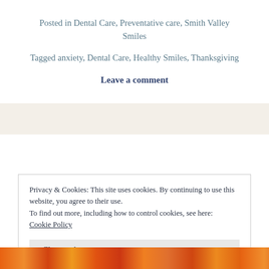Posted in Dental Care, Preventative care, Smith Valley Smiles
Tagged anxiety, Dental Care, Healthy Smiles, Thanksgiving
Leave a comment
Privacy & Cookies: This site uses cookies. By continuing to use this website, you agree to their use.
To find out more, including how to control cookies, see here:
Cookie Policy
Close and accept
[Figure (photo): Colorful festive image strip at the bottom of the page]